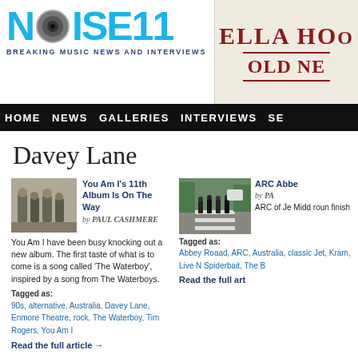[Figure (logo): Noise11 logo with speaker icon, blue text, tagline BREAKING MUSIC NEWS AND INTERVIEWS]
[Figure (photo): Advertisement banner: ELLA HOO OLD NE on beige background with dark red serif text]
HOME NEWS GALLERIES INTERVIEWS SE
Davey Lane
[Figure (photo): Thumbnail photo of You Am I band members standing together]
You Am I's 11th Album Is On The Way
by PAUL CASHMERE
You Am I have been busy knocking out a new album. The first taste of what is to come is a song called 'The Waterboy', inspired by a song from The Waterboys.
Tagged as: 90s, alternative, Australia, Davey Lane, Enmore Theatre, rock, The Waterboy, Tim Rogers, You Am I
Read the full article →
[Figure (photo): Thumbnail photo of Abbey Road crossing (Beatles-style)]
ARC Abbe
by PA
ARC of Je Midd roun finish
Tagged as: Abbey Roaad, ARC, Australia, classic Jet, Kram, Live N Spiderbait, The B
Read the full art